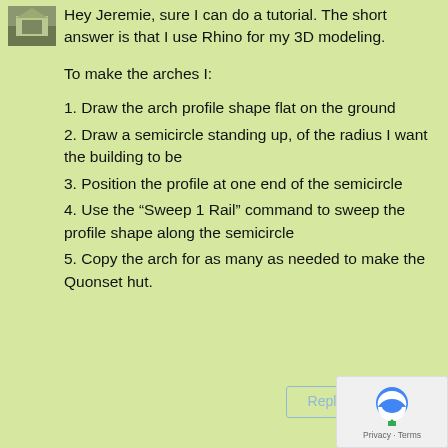[Figure (photo): Small thumbnail avatar image of a building/house exterior]
Hey Jeremie, sure I can do a tutorial. The short answer is that I use Rhino for my 3D modeling.
To make the arches I:
1. Draw the arch profile shape flat on the ground
2. Draw a semicircle standing up, of the radius I want the building to be
3. Position the profile at one end of the semicircle
4. Use the “Sweep 1 Rail” command to sweep the profile shape along the semicircle
5. Copy the arch for as many as needed to make the Quonset hut.
[Figure (logo): Google reCAPTCHA badge with logo and Privacy - Terms text]